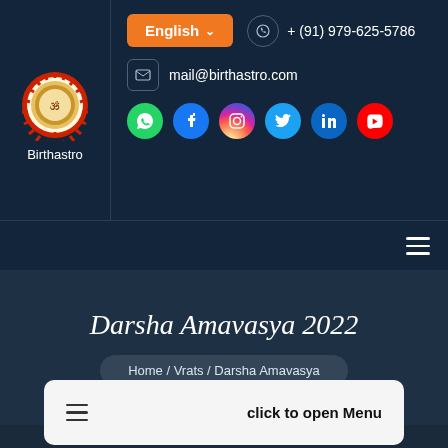[Figure (logo): Birthastro circular logo with sun/deity design and red spikes around the edge]
Birthastro
English ∨
+ (91) 979-625-5786
mail@birthastro.com
[Figure (infographic): Row of social media icons: WhatsApp, Facebook, Instagram, Twitter, LinkedIn, YouTube]
Darsha Amavasya 2022
Home / Vrats / Darsha Amavasya
click to open Menu